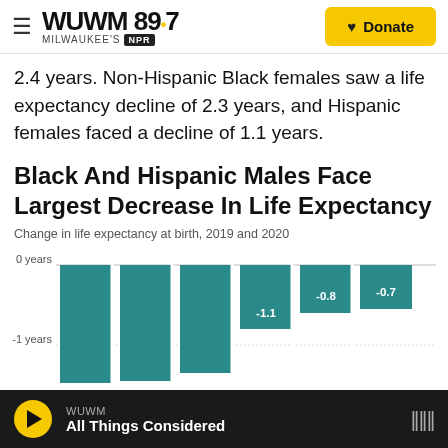WUWM 89.7 Milwaukee's NPR | Donate
2.4 years. Non-Hispanic Black females saw a life expectancy decline of 2.3 years, and Hispanic females faced a decline of 1.1 years.
Black And Hispanic Males Face Largest Decrease In Life Expectancy
Change in life expectancy at birth, 2019 and 2020
[Figure (bar-chart): Black And Hispanic Males Face Largest Decrease In Life Expectancy]
WUWM | All Things Considered